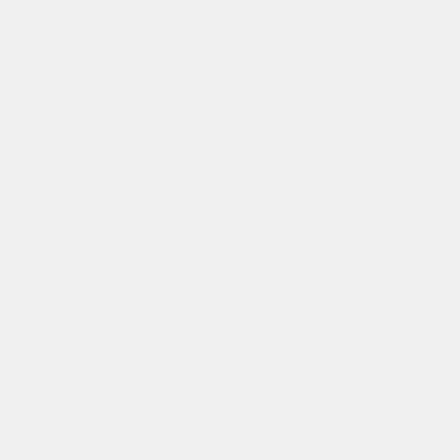is/marshals/docs/marshals/docs/marsha
is/marshals/docs/marshals/docs/marsha